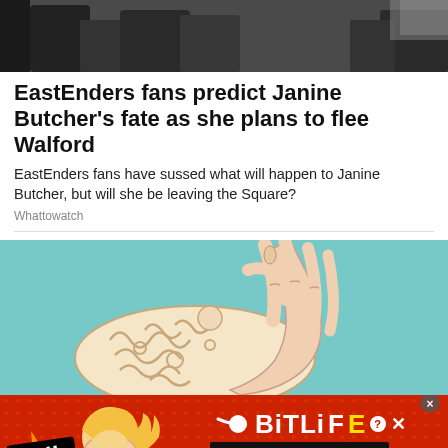[Figure (photo): Top portion of a photo showing people in dark clothing, partially cropped]
EastEnders fans predict Janine Butcher's fate as she plans to flee Walford
EastEnders fans have sussed what will happen to Janine Butcher, but will she be leaving the Square?
Whattowatch
[Figure (illustration): Cartoon illustration of a hand pulling open a stylized human brain against a teal background]
[Figure (infographic): BitLife advertisement banner with red background, animated character, flame, FAIL label, BitLife logo with sperm icon, and START A NEW LIFE text]